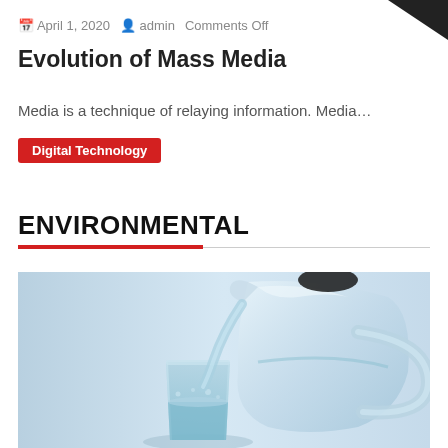April 1, 2020  admin  Comments Off
Evolution of Mass Media
Media is a technique of relaying information. Media…
Digital Technology
ENVIRONMENTAL
[Figure (photo): A glass pitcher pouring water into a glass, on a light blue background — environmental/water themed photo]